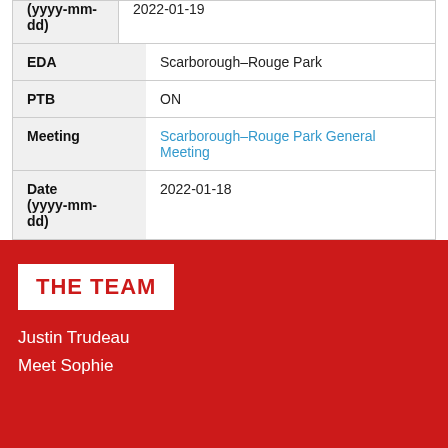| Field | Value |
| --- | --- |
| (yyyy-mm-dd) | 2022-01-19 |
| EDA | Scarborough–Rouge Park |
| PTB | ON |
| Meeting | Scarborough–Rouge Park General Meeting |
| Date (yyyy-mm-dd) | 2022-01-18 |
THE TEAM
Justin Trudeau
Meet Sophie